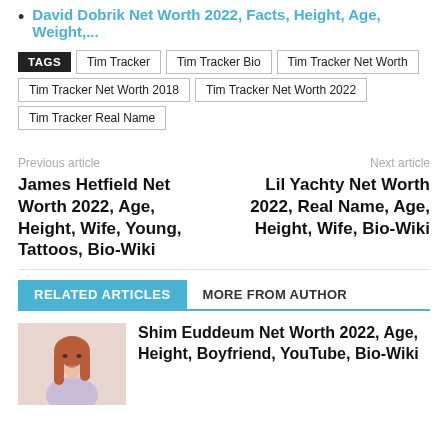David Dobrik Net Worth 2022, Facts, Height, Age, Weight,...
TAGS  Tim Tracker  Tim Tracker Bio  Tim Tracker Net Worth  Tim Tracker Net Worth 2018  Tim Tracker Net Worth 2022  Tim Tracker Real Name
Previous article — James Hetfield Net Worth 2022, Age, Height, Wife, Young, Tattoos, Bio-Wiki
Next article — Lil Yachty Net Worth 2022, Real Name, Age, Height, Wife, Bio-Wiki
RELATED ARTICLES  MORE FROM AUTHOR
Shim Euddeum Net Worth 2022, Age, Height, Boyfriend, YouTube, Bio-Wiki